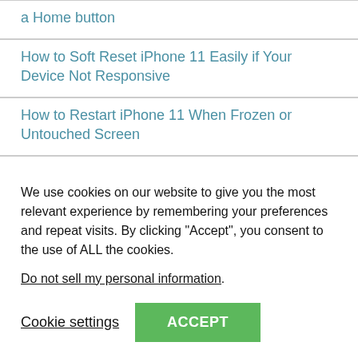a Home button
How to Soft Reset iPhone 11 Easily if Your Device Not Responsive
How to Restart iPhone 11 When Frozen or Untouched Screen
Restore iPhone 11 from iCloud Backup Without Losing Data
How to Taking Panorama on iPhone 11: Simple Steps
We use cookies on our website to give you the most relevant experience by remembering your preferences and repeat visits. By clicking “Accept”, you consent to the use of ALL the cookies.
Do not sell my personal information.
Cookie settings   ACCEPT